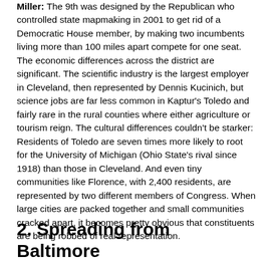Miller: The 9th was designed by the Republican who controlled state mapmaking in 2001 to get rid of a Democratic House member, by making two incumbents living more than 100 miles apart compete for one seat. The economic differences across the district are significant. The scientific industry is the largest employer in Cleveland, then represented by Dennis Kucinich, but science jobs are far less common in Kaptur's Toledo and fairly rare in the rural counties where either agriculture or tourism reign. The cultural differences couldn't be starker: Residents of Toledo are seven times more likely to root for the University of Michigan (Ohio State's rival since 1918) than those in Cleveland. And even tiny communities like Florence, with 2,400 residents, are represented by two different members of Congress. When large cities are packed together and small communities cracked apart, it becomes pretty obvious that constituents are being robbed of real representation.
2. Spreading from Baltimore